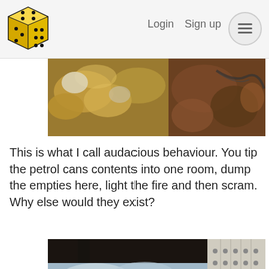Login  Sign up  ☰
[Figure (photo): Close-up photo of metallic scrap materials including brass or gold-colored pieces and rope/wire on a rustic surface]
This is what I call audacious behaviour. You tip the petrol cans contents into one room, dump the empties here, light the fire and then scram. Why else would they exist?
[Figure (photo): View from inside a dark shed or barn through a large opening showing green fields and trees outside, with a white perforated board/panel visible on the right side and a teal back-to-top button]